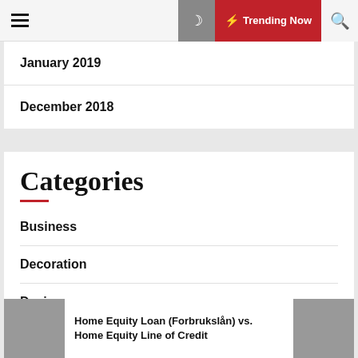Trending Now
January 2019
December 2018
Categories
Business
Decoration
Design
Home Equity Loan (Forbrukslån) vs. Home Equity Line of Credit